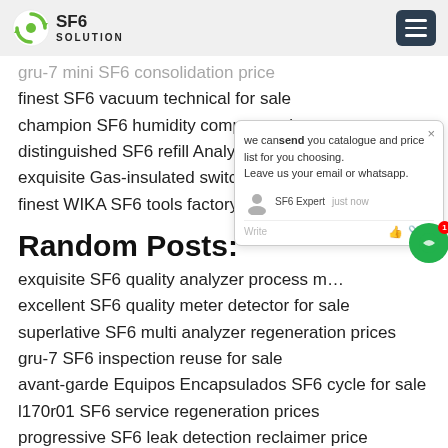SF6 SOLUTION
gru-7 mini SF6 consolidation price
finest SF6 vacuum technical for sale
champion SF6 humidity company price
distinguished SF6 refill Analysis pricing
exquisite Gas-insulated switch SF6 tools
finest WIKA SF6 tools factory
Random Posts:
exquisite SF6 quality analyzer process m…
excellent SF6 quality meter detector for sale
superlative SF6 multi analyzer regeneration prices
gru-7 SF6 inspection reuse for sale
avant-garde Equipos Encapsulados SF6 cycle for sale
l170r01 SF6 service regeneration prices
progressive SF6 leak detection reclaimer price
finest SF6 quality analysis analyzer